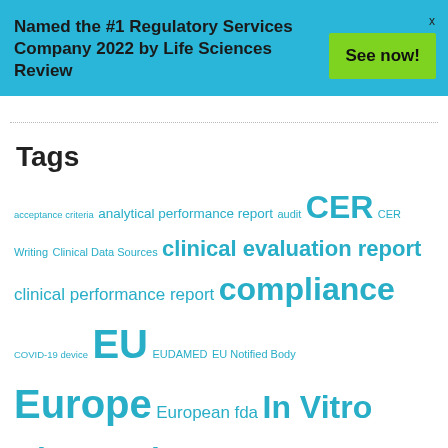Named the #1 Regulatory Services Company 2022 by Life Sciences Review
See now!
Tags
acceptance criteria analytical performance report audit CER CER Writing Clinical Data Sources clinical evaluation report clinical performance report compliance COVID-19 device EU EUDAMED EU Notified Body Europe European fda In Vitro Diagnostics IVDR MDR MDSAP MEDDEV Medical Device medical writer medtech notified bodies outsourced PER performance evaluation report pharma Policy Policy and Regulation post-market clinical follow-up regulation regulatory Risk/Benefit Analysis safety and clinical performance safety and performance measures scientific validity report SLR state of the art systematic